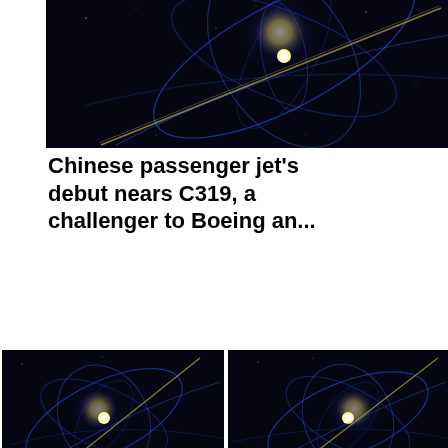[Figure (photo): Dark space-like visualization with blue orbital light trails and a bright yellow-white central point, full width top article thumbnail]
Chinese passenger jet's debut nears C319, a challenger to Boeing an...
[Figure (photo): Dark space-like visualization with blue orbital light trails and a bright yellow-white central point, left column thumbnail]
GOP's new midterm attack: Blaming Biden for formula shortage
[Figure (photo): Dark space-like visualization with blue orbital light trails and a bright yellow-white central point, right column thumbnail]
Senate Confirms Powell to Second Term Leading the Federal Reserve Afte...
[Figure (photo): Dark space-like visualization with blue orbital light trails and a bright yellow-white central point, bottom left column thumbnail]
Phuket, Koh Samui keen
[Figure (photo): Dark space-like visualization with blue orbital light trails and a bright yellow-white central point, bottom right column thumbnail]
Equities steady after a